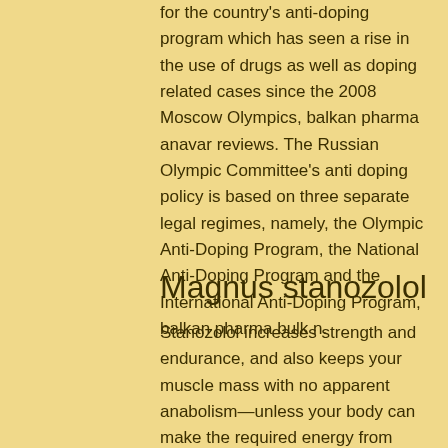for the country's anti-doping program which has seen a rise in the use of drugs as well as doping related cases since the 2008 Moscow Olympics, balkan pharma anavar reviews. The Russian Olympic Committee's anti doping policy is based on three separate legal regimes, namely, the Olympic Anti-Doping Program, the National Anti-Doping Program and the International Anti-Doping Program, balkan pharma bulk n.
Magnus stanozolol
Stanozolol increases strength and endurance, and also keeps your muscle mass with no apparent anabolism—unless your body can make the required energy from food (that is, if you consume enough glucose). While you can train hard and recover at the same time if you eat carbohydrate, your metabolism drops as the